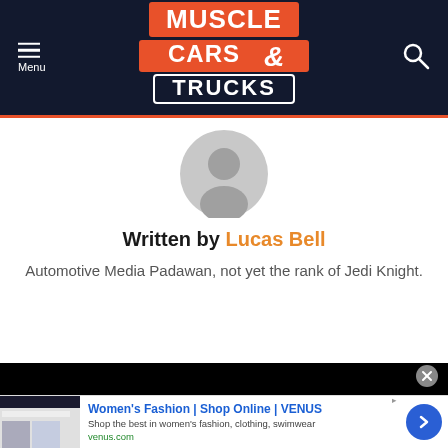Muscle Cars & Trucks — site header with menu and search
[Figure (logo): Muscle Cars & Trucks logo with orange and white text on dark navy background]
[Figure (photo): Generic grey user avatar/profile icon]
Written by Lucas Bell
Automotive Media Padawan, not yet the rank of Jedi Knight.
[Figure (screenshot): Black video/content bar at bottom]
Women's Fashion | Shop Online | VENUS
Shop the best in women's fashion, clothing, swimwear
venus.com